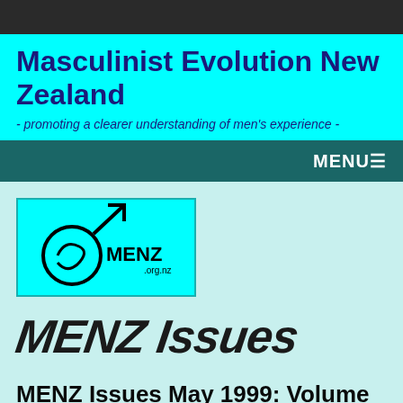Masculinist Evolution New Zealand - promoting a clearer understanding of men's experience -
[Figure (logo): MENZ.org.nz logo: cyan rectangle with a stylized male symbol arrow and MENZ org.nz text in black]
MENZ Issues
MENZ Issues May 1999: Volume 4 Issue 4